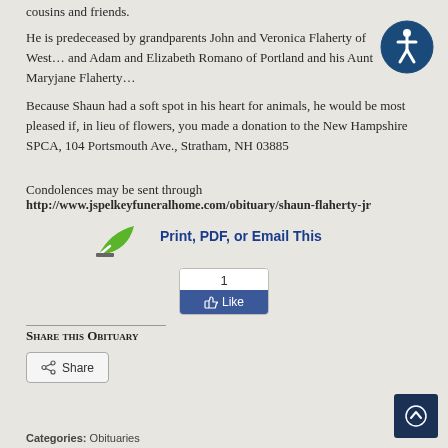cousins and friends.
He is predeceased by grandparents John and Veronica Flaherty of West… and Adam and Elizabeth Romano of Portland and his Aunt Maryjane Flaherty…
Because Shaun had a soft spot in his heart for animals, he would be most pleased if, in lieu of flowers, you made a donation to the New Hampshire SPCA, 104 Portsmouth Ave., Stratham, NH 03885
Condolences may be sent through
http://www.jspelkeyfuneralhome.com/obituary/shaun-flaherty-jr
[Figure (logo): Green leaf/checkmark icon for print/PDF/email option]
Print, PDF, or Email This
[Figure (infographic): Facebook Like button showing count of 1]
Share this Obituary
[Figure (infographic): Share button with share icon]
[Figure (infographic): Accessibility icon (wheelchair symbol in dark blue circle) in top right]
Categories: Obituaries